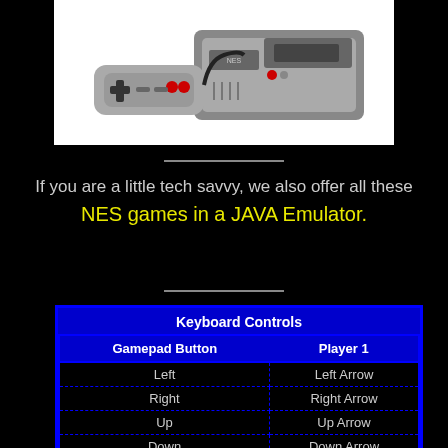[Figure (photo): NES gaming console with controller on white background]
If you are a little tech savvy, we also offer all these NES games in a JAVA Emulator.
| Gamepad Button | Player 1 |
| --- | --- |
| Left | Left Arrow |
| Right | Right Arrow |
| Up | Up Arrow |
| Down | Down Arrow |
| A | X |
| B | Z |
| Start/Pause | Enter |